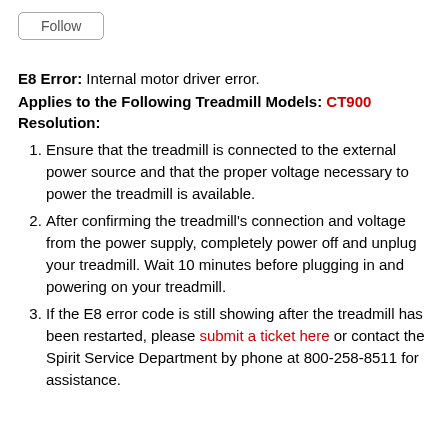Follow
E8 Error: Internal motor driver error.
Applies to the Following Treadmill Models: CT900
Resolution:
Ensure that the treadmill is connected to the external power source and that the proper voltage necessary to power the treadmill is available.
After confirming the treadmill's connection and voltage from the power supply, completely power off and unplug your treadmill. Wait 10 minutes before plugging in and powering on your treadmill.
If the E8 error code is still showing after the treadmill has been restarted, please submit a ticket here or contact the Spirit Service Department by phone at 800-258-8511 for assistance.